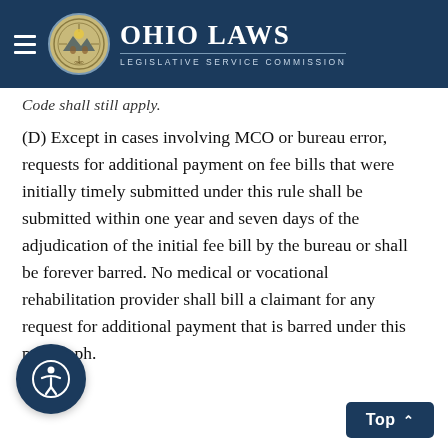Ohio Laws — Legislative Service Commission
Code shall still apply.
(D) Except in cases involving MCO or bureau error, requests for additional payment on fee bills that were initially timely submitted under this rule shall be submitted within one year and seven days of the adjudication of the initial fee bill by the bureau or shall be forever barred. No medical or vocational rehabilitation provider shall bill a claimant for any request for additional payment that is barred under this paragraph.